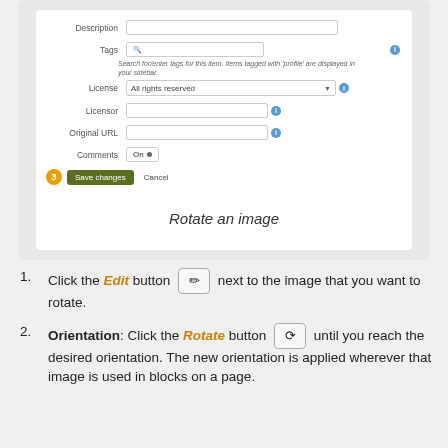[Figure (screenshot): Form screenshot showing Description, Tags, License, Licensor, Original URL, Comments fields and a Save changes / Cancel button with a circled number 3 badge.]
Rotate an image
Click the Edit button [pencil icon] next to the image that you want to rotate.
Orientation: Click the Rotate button [rotate icon] until you reach the desired orientation. The new orientation is applied wherever that image is used in blocks on a page.